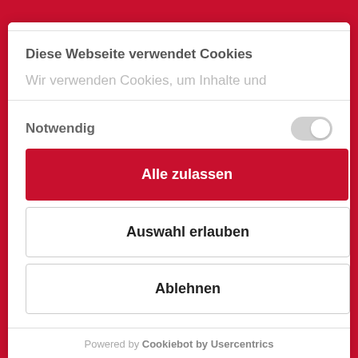Diese Webseite verwendet Cookies
Wir verwenden Cookies, um Inhalte und
Notwendig
Alle zulassen
Auswahl erlauben
Ablehnen
Powered by Cookiebot by Usercentrics